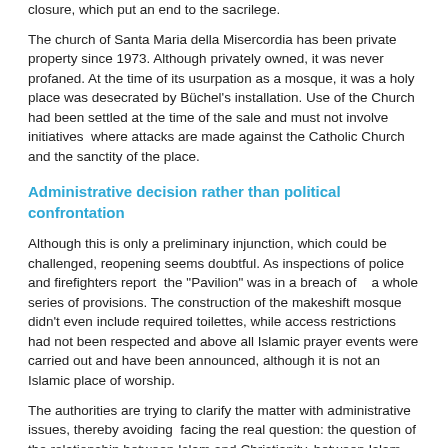closure, which put an end to the sacrilege.
The church of Santa Maria della Misercordia has been private property since 1973. Although privately owned, it was never profaned. At the time of its usurpation as a mosque, it was a holy place was desecrated by Büchel's installation. Use of the Church had been settled at the time of the sale and must not involve initiatives  where attacks are made against the Catholic Church and the sanctity of the place.
Administrative decision rather than political confrontation
Although this is only a preliminary injunction, which could be challenged, reopening seems doubtful. As inspections of police and firefighters report  the "Pavilion" was in a breach of    a whole series of provisions. The construction of the makeshift mosque didn't even include required toilettes, while access restrictions had not been respected and above all Islamic prayer events were carried out and have been announced, although it is not an Islamic place of worship.
The authorities are trying to clarify the matter with administrative issues, thereby avoiding  facing the real question: the question of the relationship between Islam and Christianity, between Islam and Europe and its laws and customs. This debate currently does not seem to be possible in Europe. So fundamental political, social, cultural and legal policy questions are being handled by administrative channels.
And what about the European auxiliary forces of Islam, such as the Republic of Iceland, which has also abused the hospitality in another country?